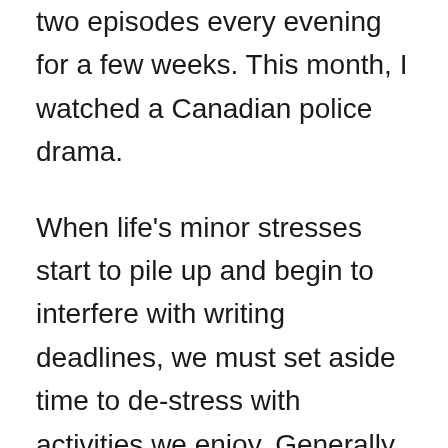two episodes every evening for a few weeks. This month, I watched a Canadian police drama.
When life's minor stresses start to pile up and begin to interfere with writing deadlines, we must set aside time to de-stress with activities we enjoy. Generally speaking, a little exercise and a dose of relaxation can get the creative juices flowing and allow the words to start tumbling onto the page again. And, if all of